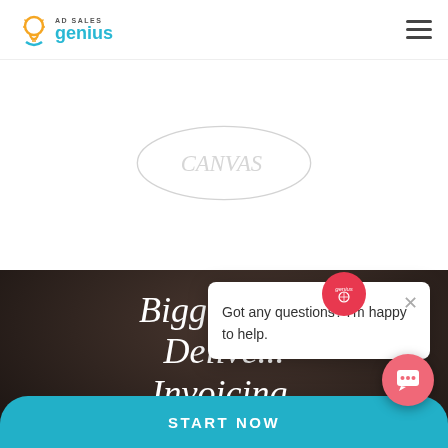[Figure (logo): Ad Sales Genius logo with lightbulb icon, 'AD SALES' text and 'genius' in teal]
[Figure (logo): Partially visible circular logo/image in white section]
Bigger Sa... Delive... Invoicing.
[Figure (screenshot): Chat popup bubble with red Genius badge, X close button, text 'Got any questions? I'm happy to help.']
Got any questions? I'm happy to help.
[Figure (other): Coral/red round chat button with speech bubble icon]
START NOW